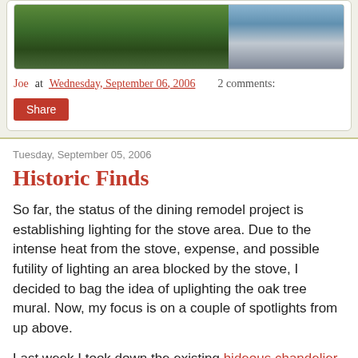[Figure (photo): Outdoor photo showing green trees/plants on the left and a blue/grey wall or garage on the right]
Joe at Wednesday, September 06, 2006    2 comments:
Share
Tuesday, September 05, 2006
Historic Finds
So far, the status of the dining remodel project is establishing lighting for the stove area. Due to the intense heat from the stove, expense, and possible futility of lighting an area blocked by the stove, I decided to bag the idea of uplighting the oak tree mural. Now, my focus is on a couple of spotlights from up above.
Last week I took down the existing hideous chandelier and cut some holes in the ceiling. The intent of this was to get an understanding of the existing wiring configuration and how to